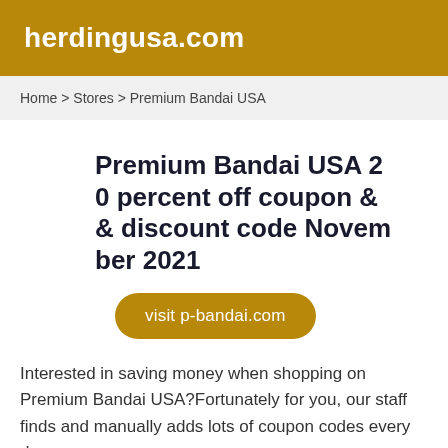herdingusa.com
Home > Stores > Premium Bandai USA
Premium Bandai USA 20 percent off coupon && discount code November 2021
visit p-bandai.com
Interested in saving money when shopping on Premium Bandai USA?Fortunately for you, our staff finds and manually adds lots of coupon codes every day